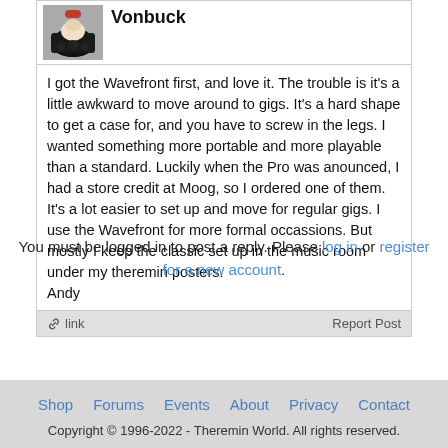Vonbuck
I got the Wavefront first, and love it. The trouble is it's a little awkward to move around to gigs. It's a hard shape to get a case for, and you have to screw in the legs. I wanted something more portable and more playable than a standard. Luckily when the Pro was anounced, I had a store credit at Moog, so I ordered one of them. It's a lot easier to set up and move for regular gigs. I use the Wavefront for more formal occassions. But mostly I keep the classic set up in the music room under my theremin posters.
Andy
You must be logged in to post a reply. Please log in or register for a new account.
Shop  Forums  Events  About  Privacy  Contact
Copyright © 1996-2022 - Theremin World. All rights reserved.